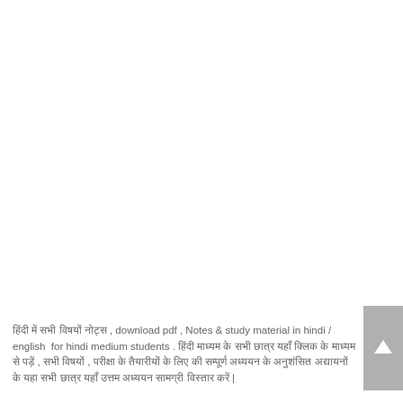हिंदी में सभी विषयों नोट्स , download pdf , Notes & study material in hindi / english  for hindi medium students . हिंदी माध्यम के सभी छात्र यहाँ क्लिक के माध्यम से पड़ें , सभी विषयों , परीक्षा के तैयारीयों के लिए की सम्पूर्ण अध्ययन के अनुशंसित अद्यायनों के यहा सभी छात्र यहाँ उत्तम अध्ययन सामग्री विस्तार करें |